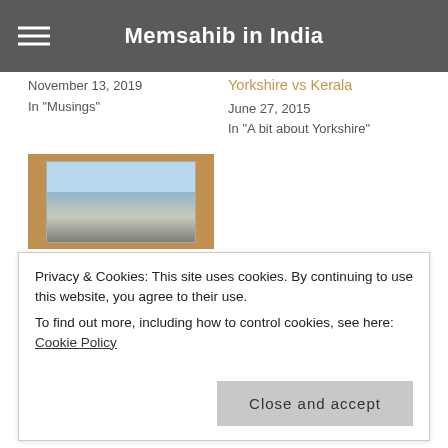Memsahib in India
November 13, 2019
In "Musings"
Yorkshire vs Kerala
June 27, 2015
In "A bit about Yorkshire"
[Figure (photo): Snowy landscape photo in a slide frame with brownish border]
Rediscovering Yorkshire – The longest way round is the shortest way home.
February 13, 2021
Privacy & Cookies: This site uses cookies. By continuing to use this website, you agree to their use.
To find out more, including how to control cookies, see here: Cookie Policy
Close and accept